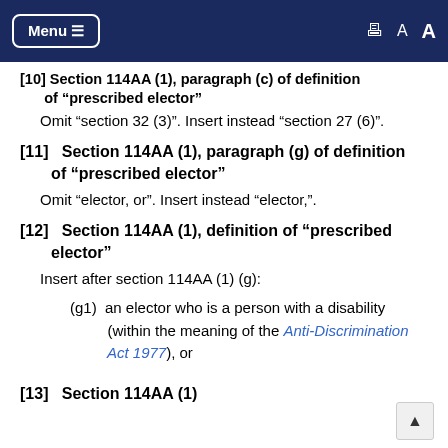Menu
[10]  Section 114AA (1), paragraph (c) of definition of "prescribed elector"
Omit "section 32 (3)". Insert instead "section 27 (6)".
[11]   Section 114AA (1), paragraph (g) of definition of "prescribed elector"
Omit "elector, or". Insert instead "elector,".
[12]   Section 114AA (1), definition of "prescribed elector"
Insert after section 114AA (1) (g):
(g1)  an elector who is a person with a disability (within the meaning of the Anti-Discrimination Act 1977), or
[13]   Section 114AA (1)